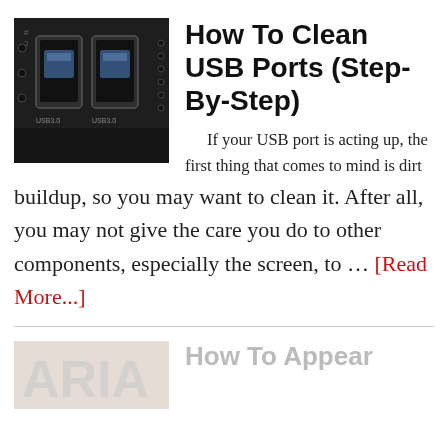[Figure (photo): Close-up photo of USB 3.0 ports on a dark brushed metal surface with 'USB3.0' text engraved]
How To Clean USB Ports (Step-By-Step)
If your USB port is acting up, the first thing that comes to mind is dirt buildup, so you may want to clean it. After all, you may not give the care you do to other components, especially the screen, to … [Read More...]